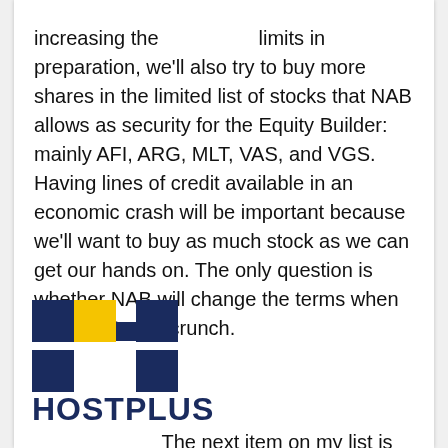increasing the limits in preparation, we'll also try to buy more shares in the limited list of stocks that NAB allows as security for the Equity Builder: mainly AFI, ARG, MLT, VAS, and VGS. Having lines of credit available in an economic crash will be important because we'll want to buy as much stock as we can get our hands on. The only question is whether NAB will change the terms when it comes to the crunch.
[Figure (logo): HOSTPLUS logo — dark navy blue H-shaped icon with a yellow square accent, and HOSTPLUS text in bold navy below]
The next item on my list is superannuation. My wife and I are currently both